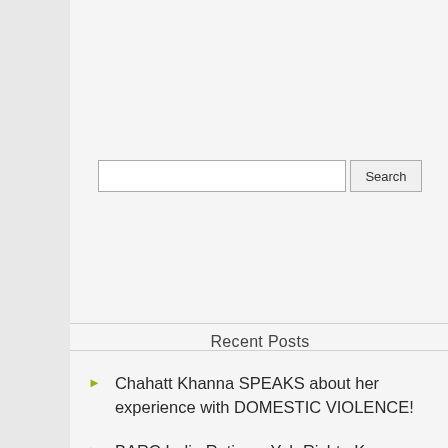[Figure (screenshot): Search input box with Search button]
Recent Posts
Chahatt Khanna SPEAKS about her experience with DOMESTIC VIOLENCE!
BARC India Ratings: Yeh Rishta Kya Kehlata Hai continues strong run; Shakti Astitva Ke Ehsaas Ki in top 10!